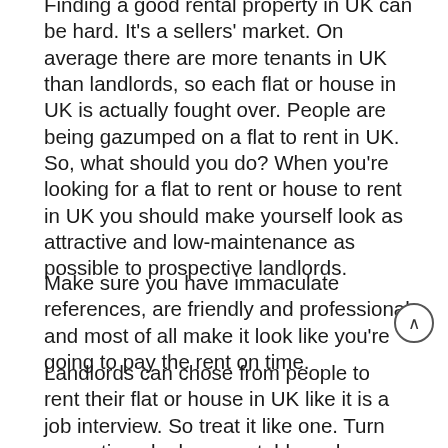Finding a good rental property in UK can be hard. It's a sellers' market. On average there are more tenants in UK than landlords, so each flat or house in UK is actually fought over. People are being gazumped on a flat to rent in UK. So, what should you do? When you're looking for a flat to rent or house to rent in UK you should make yourself look as attractive and low-maintenance as possible to prospective landlords.
Make sure you have immaculate references, are friendly and professional and most of all make it look like you're going to pay the rent on time.
Landlords can chose from people to rent their flat or house in UK like it is a job interview. So treat it like one. Turn up on time, look presentable and make the landlords aware you are going to be hassle free, dependable tenants.